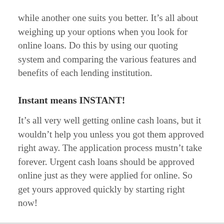while another one suits you better. It’s all about weighing up your options when you look for online loans. Do this by using our quoting system and comparing the various features and benefits of each lending institution.
Instant means INSTANT!
It’s all very well getting online cash loans, but it wouldn’t help you unless you got them approved right away. The application process mustn’t take forever. Urgent cash loans should be approved online just as they were applied for online. So get yours approved quickly by starting right now!